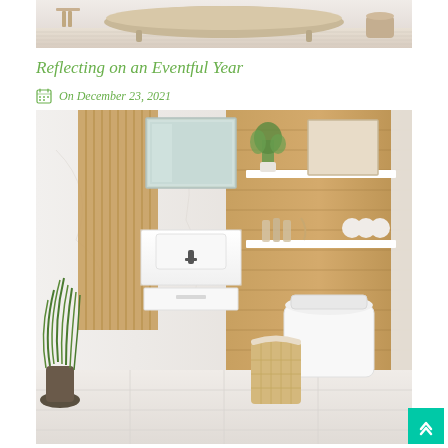[Figure (photo): Top partial bathroom photo showing a clawfoot bathtub on wooden floor with light background]
Reflecting on an Eventful Year
On December 23, 2021
[Figure (photo): Modern bathroom interior with white floating vanity, wall-mounted sink, medicine cabinet mirror, wooden slatted wall panels, toilet, shelves with toiletries and towels, and potted grass plant in corner]